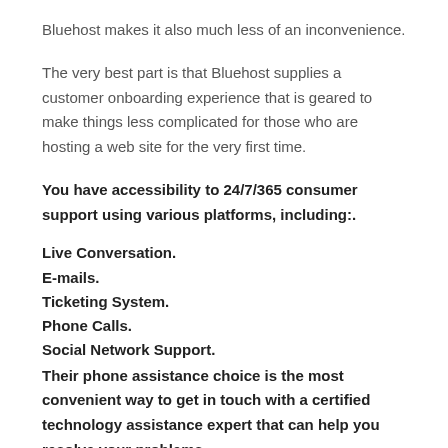Bluehost makes it also much less of an inconvenience.
The very best part is that Bluehost supplies a customer onboarding experience that is geared to make things less complicated for those who are hosting a web site for the very first time.
You have accessibility to 24/7/365 consumer support using various platforms, including:.
Live Conversation.
E-mails.
Ticketing System.
Phone Calls.
Social Network Support.
Their phone assistance choice is the most convenient way to get in touch with a certified technology assistance expert that can help you resolve your problems.